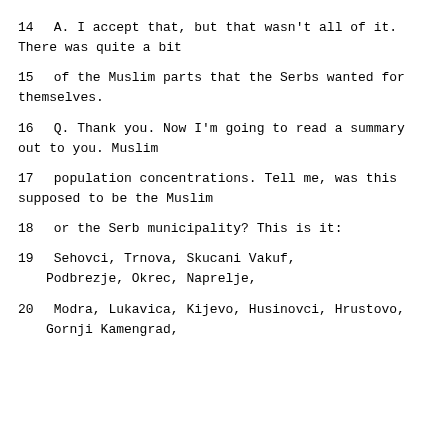14    A.   I accept that, but that wasn't all of it.  There was quite a bit
15      of the Muslim parts that the Serbs wanted for themselves.
16         Q.   Thank you.  Now I'm going to read a summary out to you.  Muslim
17      population concentrations.  Tell me, was this supposed to be the Muslim
18      or the Serb municipality?  This is it:
19               Sehovci, Trnova, Skucani Vakuf, Podbrezje, Okrec, Naprelje,
20      Modra, Lukavica, Kijevo, Husinovci, Hrustovo, Gornji Kamengrad,